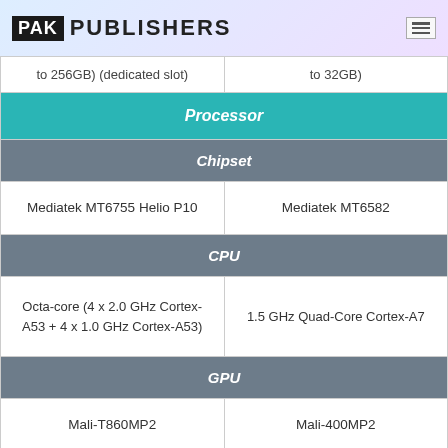PAK PUBLISHERS
| to 256GB) (dedicated slot) | to 32GB) |
| Processor |  |
| Chipset |  |
| Mediatek MT6755 Helio P10 | Mediatek MT6582 |
| CPU |  |
| Octa-core (4 x 2.0 GHz Cortex-A53 + 4 x 1.0 GHz Cortex-A53) | 1.5 GHz Quad-Core Cortex-A7 |
| GPU |  |
| Mali-T860MP2 | Mali-400MP2 |